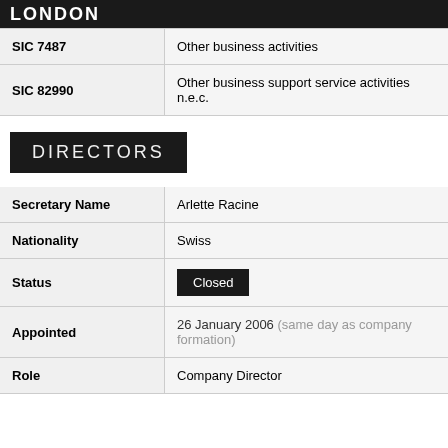LONDON
| Code | Description |
| --- | --- |
| SIC 7487 | Other business activities |
| SIC 82990 | Other business support service activities n.e.c. |
DIRECTORS
| Field | Value |
| --- | --- |
| Secretary Name | Arlette Racine |
| Nationality | Swiss |
| Status | Closed |
| Appointed | 26 January 2006 (same day as company formation) |
| Role | Company Director |